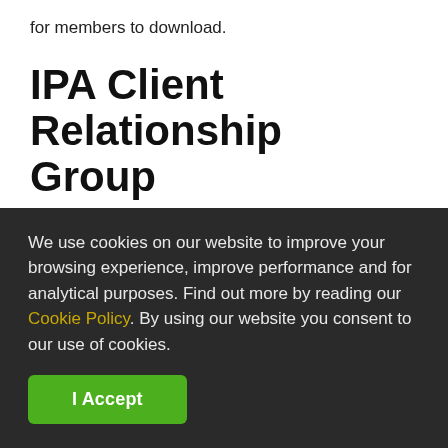for members to download.
IPA Client Relationship Group
If you are interested in knowing more about our Client Relationship Group who champion the role
We use cookies on our website to improve your browsing experience, improve performance and for analytical purposes. Find out more by reading our Cookie Policy. By using our website you consent to our use of cookies.
I Accept